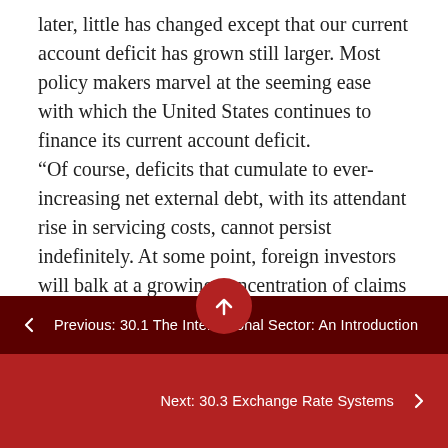later, little has changed except that our current account deficit has grown still larger. Most policy makers marvel at the seeming ease with which the United States continues to finance its current account deficit. “Of course, deficits that cumulate to ever-increasing net external debt, with its attendant rise in servicing costs, cannot persist indefinitely. At some point, foreign investors will balk at a growing concentration of claims against U.S. residents … and will begin to alter their portfolios. … The rise of the U.S. current account deficit over the past decade appears to have coincided with a pronounced new phase of globalization that is characterized by a major a…ation in U.S. productivity growth and the decline in what economists call home bias
← Previous: 30.1 The International Sector: An Introduction
Next: 30.3 Exchange Rate Systems →